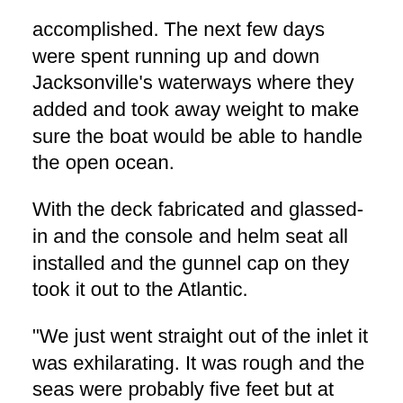accomplished. The next few days were spent running up and down Jacksonville's waterways where they added and took away weight to make sure the boat would be able to handle the open ocean.
With the deck fabricated and glassed-in and the console and helm seat all installed and the gunnel cap on they took it out to the Atlantic.
“We just went straight out of the inlet it was exhilarating. It was rough and the seas were probably five feet but at end of the jetty it was cross up against the wind and the tide was probably every bit of six feet and there were other boats turning around and we just kind of pushed right through it with nothing to hang onto,” Tommy says. “It blew us away with how well it handled rough conditions so that enabled us to